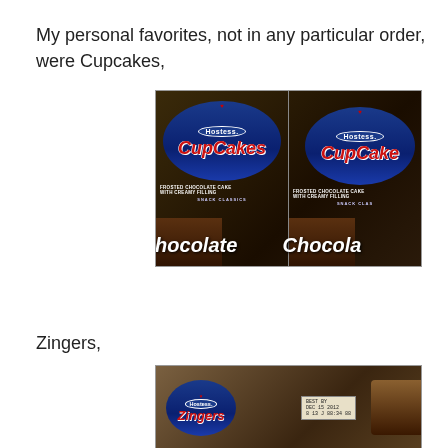My personal favorites, not in any particular order, were Cupcakes,
[Figure (photo): Two Hostess CupCakes packages side by side showing blue oval logo with 'Hostess' text, red italic 'CupCakes' lettering, 'FROSTED CHOCOLATE CAKE WITH CREAMY FILLING' and 'SNACK CLASSICS' text, and brown 'Chocolate' section at bottom]
Zingers,
[Figure (photo): Hostess Zingers package showing blue oval logo with 'Hostess' text, red italic 'Zingers' lettering, and a chocolate Zinger snack cake visible through clear packaging with a BEST BY date of DEC 15 2012]